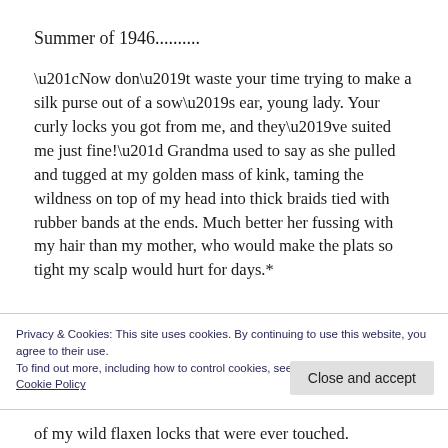Summer of 1946..........
“Now don’t waste your time trying to make a silk purse out of a sow’s ear, young lady. Your curly locks you got from me, and they’ve suited me just fine!” Grandma used to say as she pulled and tugged at my golden mass of kink, taming the wildness on top of my head into thick braids tied with rubber bands at the ends. Much better her fussing with my hair than my mother, who would make the plats so tight my scalp would hurt for days.*
Privacy & Cookies: This site uses cookies. By continuing to use this website, you agree to their use.
To find out more, including how to control cookies, see here:
Cookie Policy
of my wild flaxen locks that were ever touched.